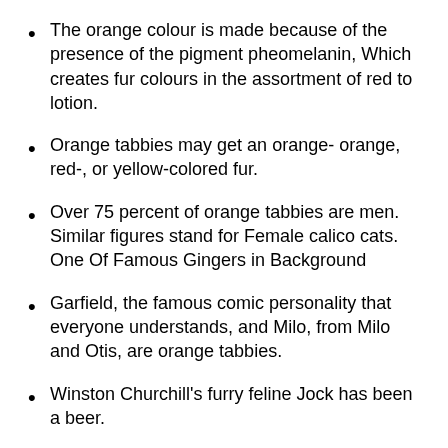The orange colour is made because of the presence of the pigment pheomelanin, Which creates fur colours in the assortment of red to lotion.
Orange tabbies may get an orange- orange, red-, or yellow-colored fur.
Over 75 percent of orange tabbies are men. Similar figures stand for Female calico cats.
One Of Famous Gingers in Background
Garfield, the famous comic personality that everyone understands, and Milo, from Milo and Otis, are orange tabbies.
Winston Churchill's furry feline Jock has been a beer.
Many orange tabbies to celebrity in films were Orangey from Breakfast in Tiffany's and Position from Star Trek: The Next Generation.